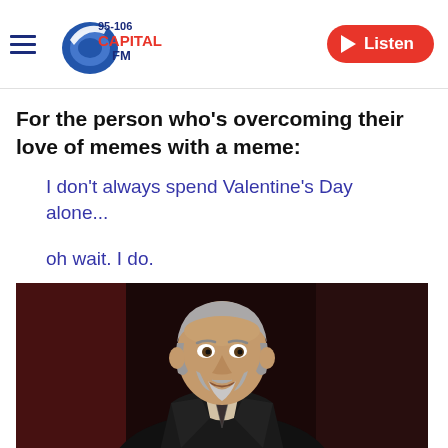[Figure (logo): Capital FM 95-106 radio station logo with hamburger menu and Listen button]
For the person who's overcoming their love of memes with a meme:
I don't always spend Valentine's Day alone...

oh wait. I do.
[Figure (photo): Older distinguished-looking man with grey hair and beard, wearing a dark suit, seated, resembling the 'Most Interesting Man in the World' meme character]